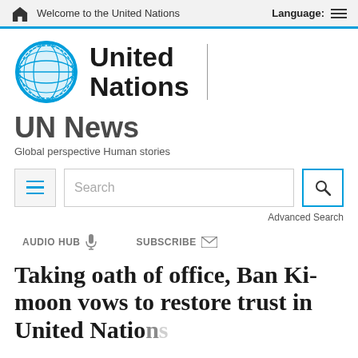Welcome to the United Nations   Language:
[Figure (logo): United Nations logo with globe emblem and 'United Nations' text]
UN News
Global perspective Human stories
Search   Advanced Search
AUDIO HUB   SUBSCRIBE
Taking oath of office, Ban Ki-moon vows to restore trust in United Nations